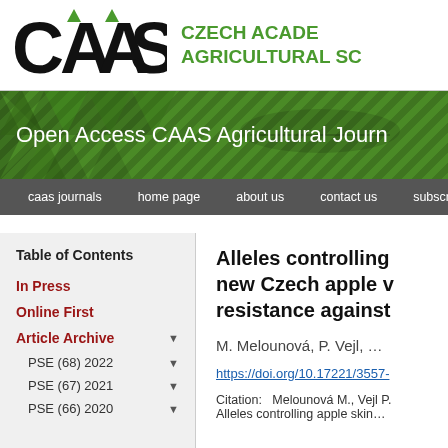[Figure (logo): CAAS logo with Czech Academy of Agricultural Sciences text in green]
[Figure (illustration): Green banner with triangular pattern and wheat imagery reading 'Open Access CAAS Agricultural Journals']
caas journals   home page   about us   contact us   subscription
Table of Contents
In Press
Online First
Article Archive ▼
PSE (68) 2022 ▼
PSE (67) 2021 ▼
PSE (66) 2020 ▼
Alleles controlling new Czech apple varieties resistance against
M. Melounová, P. Vejl, …
https://doi.org/10.17221/3557-
Citation:   Melounová M., Vejl P. Alleles controlling apple skin…